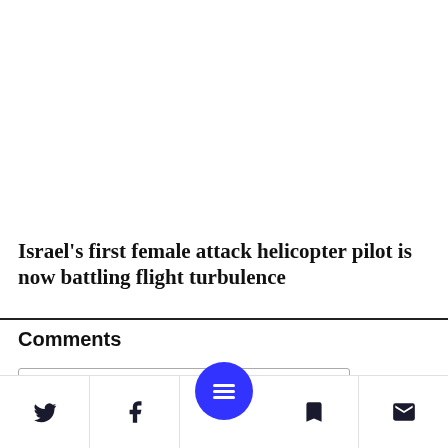Israel's first female attack helicopter pilot is now battling flight turbulence
Comments
Name
Get a nickname
Enter the commenter display nam